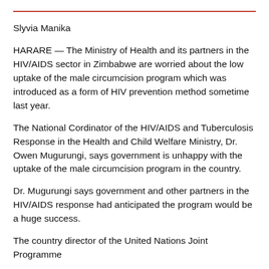Slyvia Manika
HARARE — The Ministry of Health and its partners in the HIV/AIDS sector in Zimbabwe are worried about the low uptake of the male circumcision program which was introduced as a form of HIV prevention method sometime last year.
The National Cordinator of the HIV/AIDS and Tuberculosis Response in the Health and Child Welfare Ministry, Dr. Owen Mugurungi, says government is unhappy with the uptake of the male circumcision program in the country.
Dr. Mugurungi says government and other partners in the HIV/AIDS response had anticipated the program would be a huge success.
The country director of the United Nations Joint Programme